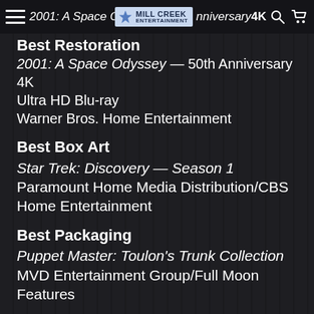Best Restoration | 2001: A Space Odyssey — 50th Anniversary 4K Ultra HD Blu-ray | Mill Creek Entertainment logo | Warner Bros. Home Entertainment
Best Box Art
Star Trek: Discovery — Season 1
Paramount Home Media Distribution/CBS Home Entertainment
Best Packaging
Puppet Master: Toulon's Trunk Collection
MVD Entertainment Group/Full Moon Features
Best Digital Presentation of a Movie
Mission: Impossible — Fallout
Paramount Home Media Distribution